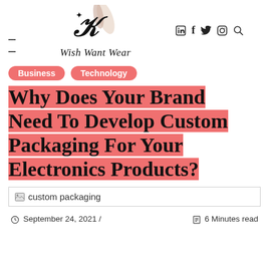[Figure (logo): Wish Want Wear logo with stylized W and nail polish imagery, social media icons (LinkedIn, Facebook, Twitter, Instagram) and search icon on the right, hamburger menu on the left]
Business   Technology
Why Does Your Brand Need To Develop Custom Packaging For Your Electronics Products?
[Figure (photo): Broken image placeholder showing 'custom packaging']
September 24, 2021 /   6 Minutes read